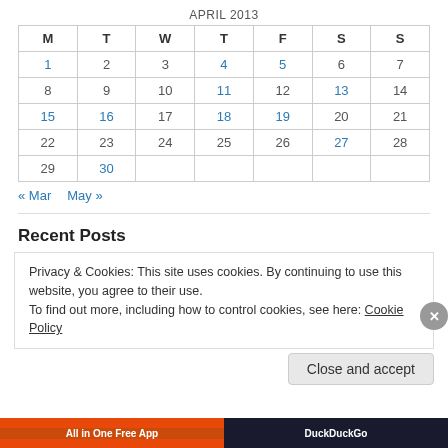APRIL 2013
| M | T | W | T | F | S | S |
| --- | --- | --- | --- | --- | --- | --- |
| 1 | 2 | 3 | 4 | 5 | 6 | 7 |
| 8 | 9 | 10 | 11 | 12 | 13 | 14 |
| 15 | 16 | 17 | 18 | 19 | 20 | 21 |
| 22 | 23 | 24 | 25 | 26 | 27 | 28 |
| 29 | 30 |  |  |  |  |  |
« Mar   May »
Recent Posts
Privacy & Cookies: This site uses cookies. By continuing to use this website, you agree to their use. To find out more, including how to control cookies, see here: Cookie Policy